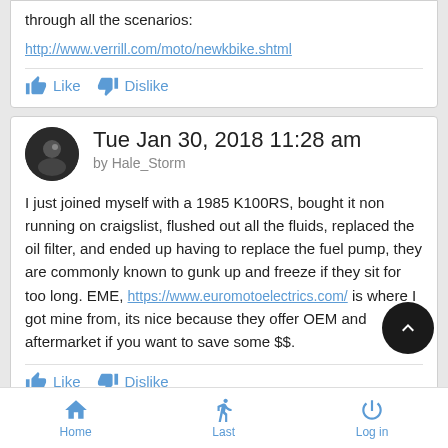through all the scenarios:
http://www.verrill.com/moto/newkbike.shtml
Like   Dislike
Tue Jan 30, 2018 11:28 am
by Hale_Storm
I just joined myself with a 1985 K100RS, bought it non running on craigslist, flushed out all the fluids, replaced the oil filter, and ended up having to replace the fuel pump, they are commonly known to gunk up and freeze if they sit for too long. EME, https://www.euromotoelectrics.com/ is where I got mine from, its nice because they offer OEM and aftermarket if you want to save some $$.
Like   Dislike
Home   Last   Log in